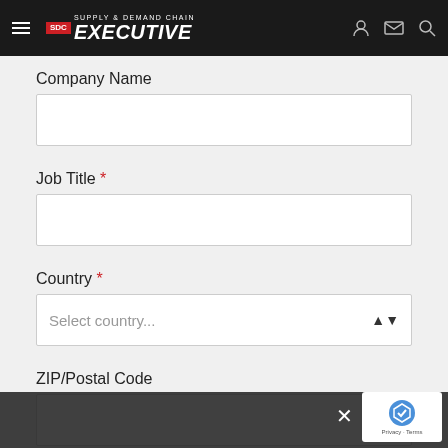SDC Supply & Demand Chain Executive
Company Name
Job Title *
Country *
Select country...
ZIP/Postal Code
Comment